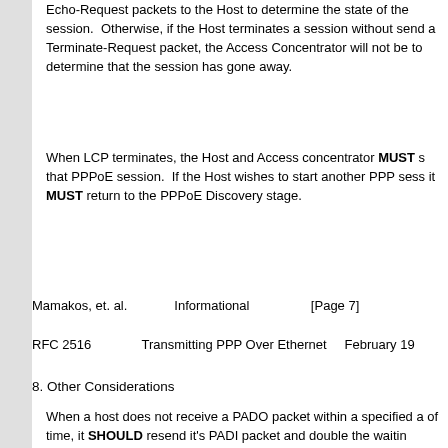Echo-Request packets to the Host to determine the state of the session.  Otherwise, if the Host terminates a session without sending a Terminate-Request packet, the Access Concentrator will not be to determine that the session has gone away.
When LCP terminates, the Host and Access concentrator MUST stop that PPPoE session.  If the Host wishes to start another PPP session, it MUST return to the PPPoE Discovery stage.
Mamakos, et. al.            Informational                [Page 7]
RFC 2516              Transmitting PPP Over Ethernet       February 19
8. Other Considerations
When a host does not receive a PADO packet within a specified amount of time, it SHOULD resend it's PADI packet and double the waiting period. This is repeated as many times as desired.  If the Host is waiting to receive a PADS packet, a similar timeout mechanism SHOULD be used, with the Host re-sending the PADR.  After a specified number